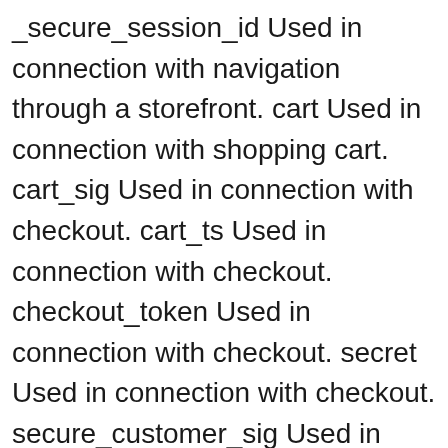_secure_session_id Used in connection with navigation through a storefront. cart Used in connection with shopping cart. cart_sig Used in connection with checkout. cart_ts Used in connection with checkout. checkout_token Used in connection with checkout. secret Used in connection with checkout. secure_customer_sig Used in connection with customer login. storefront_digest Used in connection with customer login. _shopify_u Used to facilitate updating customer account information. Reporting and Analytics Name Function _tracking_consent Tracking preferences. _landing_page Track landing pages. _orig_referrer Track landing